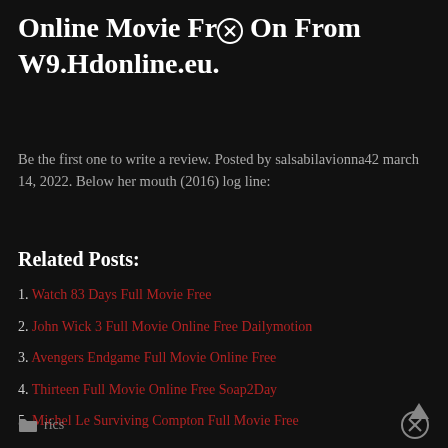Online Movie Free ⊗ On From W9.Hdonline.eu.
Be the first one to write a review. Posted by salsabilavionna42 march 14, 2022. Below her mouth (2016) log line:
Related Posts:
1. Watch 83 Days Full Movie Free
2. John Wick 3 Full Movie Online Free Dailymotion
3. Avengers Endgame Full Movie Online Free
4. Thirteen Full Movie Online Free Soap2Day
5. Michel Le Surviving Compton Full Movie Free
rics